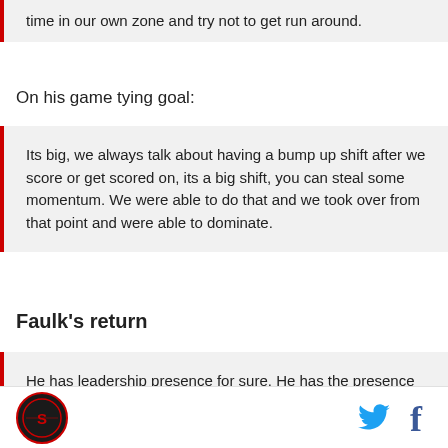time in our own zone and try not to get run around.
On his game tying goal:
Its big, we always talk about having a bump up shift after we score or get scored on, its a big shift, you can steal some momentum. We were able to do that and we took over from that point and were able to dominate.
Faulk’s return
He has leadership presence for sure. He has the presence on the power play, even though we weren’t very good on the power play. He’s physical, I say...